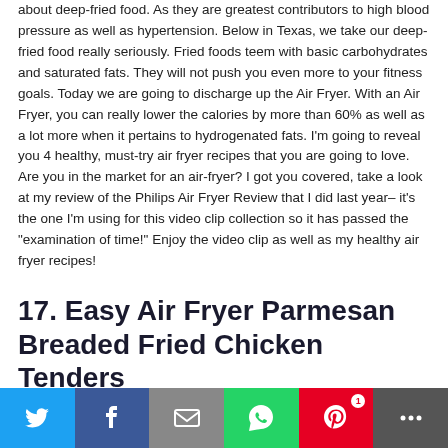about deep-fried food. As they are greatest contributors to high blood pressure as well as hypertension. Below in Texas, we take our deep-fried food really seriously. Fried foods teem with basic carbohydrates and saturated fats. They will not push you even more to your fitness goals. Today we are going to discharge up the Air Fryer. With an Air Fryer, you can really lower the calories by more than 60% as well as a lot more when it pertains to hydrogenated fats. I'm going to reveal you 4 healthy, must-try air fryer recipes that you are going to love. Are you in the market for an air-fryer? I got you covered, take a look at my review of the Philips Air Fryer Review that I did last year– it's the one I'm using for this video clip collection so it has passed the "examination of time!" Enjoy the video clip as well as my healthy air fryer recipes!
17. Easy Air Fryer Parmesan Breaded Fried Chicken Tenders
[Figure (infographic): Social media share bar with Twitter, Facebook, Email, WhatsApp, Pinterest (badge: 1), and More buttons]